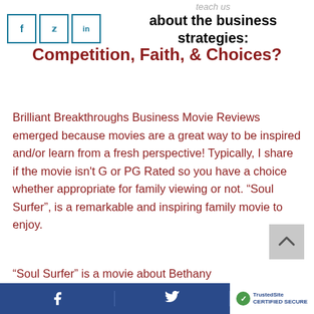teach us about the business strategies:
Competition, Faith, & Choices?
Brilliant Breakthroughs Business Movie Reviews emerged because movies are a great way to be inspired and/or learn from a fresh perspective! Typically, I share if the movie isn't G or PG Rated so you have a choice whether appropriate for family viewing or not. “Soul Surfer”, is a remarkable and inspiring family movie to enjoy.
“Soul Surfer” is a movie about Bethany
f  [twitter]  TrustedSite CERTIFIED SECURE